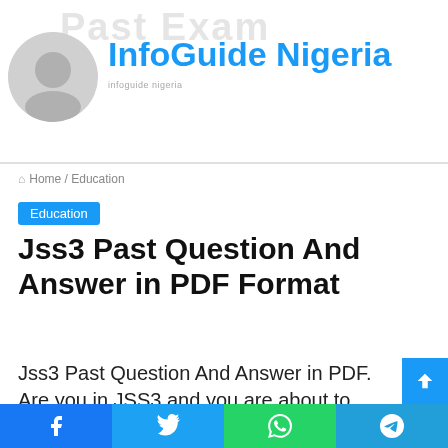InfoGuide Nigeria
Home / Education
Education
Jss3 Past Question And Answer in PDF Format
Jss3 Past Question And Answer in PDF. Are you in JSS3 and you are about to participate in the junior WAEC examination? if yes, then we have